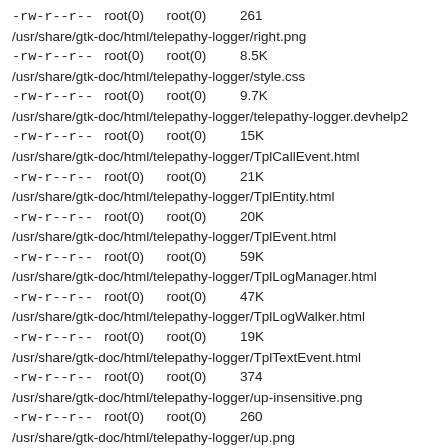-rw-r--r--  root(0)      root(0)         261
/usr/share/gtk-doc/html/telepathy-logger/right.png
-rw-r--r--  root(0)      root(0)         8.5K
/usr/share/gtk-doc/html/telepathy-logger/style.css
-rw-r--r--  root(0)      root(0)         9.7K
/usr/share/gtk-doc/html/telepathy-logger/telepathy-logger.devhelp2
-rw-r--r--  root(0)      root(0)         15K
/usr/share/gtk-doc/html/telepathy-logger/TplCallEvent.html
-rw-r--r--  root(0)      root(0)         21K
/usr/share/gtk-doc/html/telepathy-logger/TplEntity.html
-rw-r--r--  root(0)      root(0)         20K
/usr/share/gtk-doc/html/telepathy-logger/TplEvent.html
-rw-r--r--  root(0)      root(0)         59K
/usr/share/gtk-doc/html/telepathy-logger/TplLogManager.html
-rw-r--r--  root(0)      root(0)         47K
/usr/share/gtk-doc/html/telepathy-logger/TplLogWalker.html
-rw-r--r--  root(0)      root(0)         19K
/usr/share/gtk-doc/html/telepathy-logger/TplTextEvent.html
-rw-r--r--  root(0)      root(0)         374
/usr/share/gtk-doc/html/telepathy-logger/up-insensitive.png
-rw-r--r--  root(0)      root(0)         260
/usr/share/gtk-doc/html/telepathy-logger/up.png